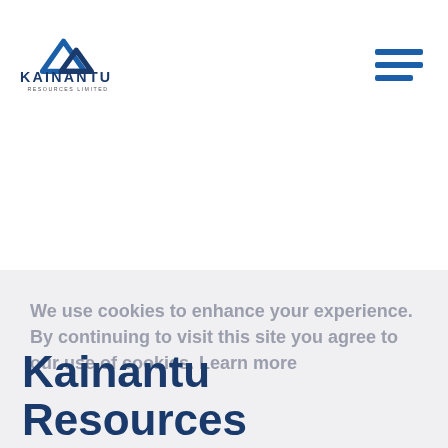[Figure (logo): Kainantu Resources Limited logo with mountain/chevron icon above text KAINANTU RESOURCES LIMITED]
[Figure (other): Hamburger menu icon (three horizontal blue lines) in top right corner]
We use cookies to enhance your experience. By continuing to visit this site you agree to our use of cookies. Learn more
Kainantu Resources A...